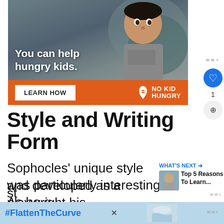[Figure (photo): Advertisement banner: No Kid Hungry charity ad showing a young boy with text 'You can help hungry kids.' and a 'LEARN HOW' button on an orange bar with the No Kid Hungry logo]
Style and Writing Form
Sophocles' unique style was particularly interesting. As he grew and developed as a playwright his st...
[Figure (infographic): What's Next sidebar: thumbnail image with 'WHAT'S NEXT → Top 5 Reasons To Learn...' text]
[Figure (photo): Bottom advertisement banner with #FlattenTheCurve hashtag text and hand-washing image]